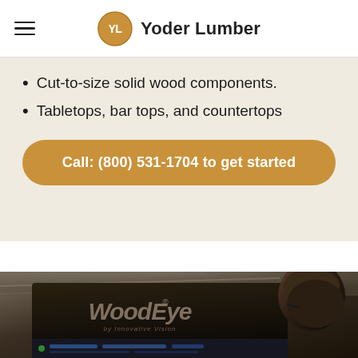Yoder Lumber
Cut-to-size solid wood components.
Tabletops, bar tops, and countertops
Call: (800) 531-1704 to get started
[Figure (photo): Person looking at a WoodEye by Innovative Vision scanning machine monitor with software interface visible at the bottom]